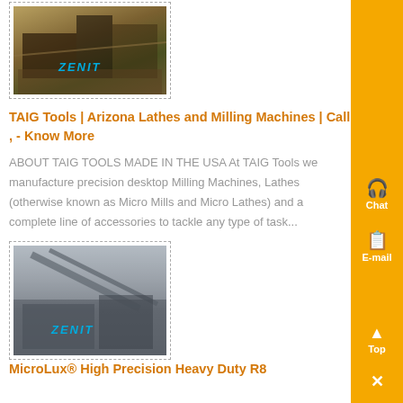[Figure (photo): Industrial mining or construction equipment photo with ZENIT watermark, shown in dashed border]
TAIG Tools | Arizona Lathes and Milling Machines | Call , - Know More
ABOUT TAIG TOOLS MADE IN THE USA At TAIG Tools we manufacture precision desktop Milling Machines, Lathes (otherwise known as Micro Mills and Micro Lathes) and a complete line of accessories to tackle any type of task...
[Figure (photo): Industrial conveyor belt or crushing plant photo with ZENIT watermark, shown in dashed border]
MicroLux® High Precision Heavy Duty R8